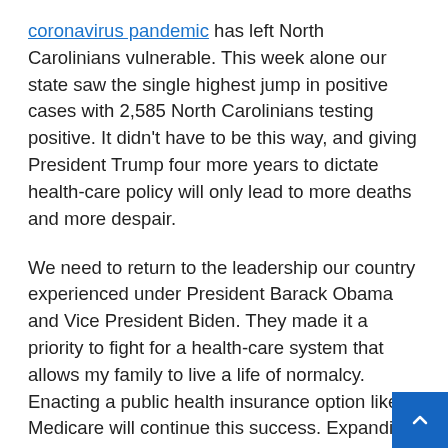coronavirus pandemic has left North Carolinians vulnerable. This week alone our state saw the single highest jump in positive cases with 2,585 North Carolinians testing positive. It didn't have to be this way, and giving President Trump four more years to dictate health-care policy will only lead to more deaths and more despair.
We need to return to the leadership our country experienced under President Barack Obama and Vice President Biden. They made it a priority to fight for a health-care system that allows my family to live a life of normalcy. Enacting a public health insurance option like Medicare will continue this success. Expanding coverage to more Americans — regardless of gender, race, income, sexual orientation, or zip code — will lead to affordable, quality care for all American families.